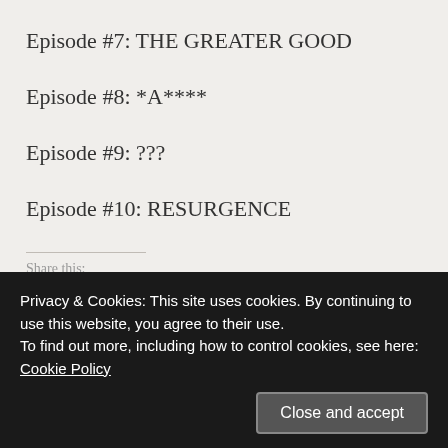Episode #7: THE GREATER GOOD
Episode #8: *A****
Episode #9: ???
Episode #10: RESURGENCE
Share this:
[Figure (screenshot): Cookie consent overlay: 'Privacy & Cookies: This site uses cookies. By continuing to use this website, you agree to their use. To find out more, including how to control cookies, see here: Cookie Policy' with a 'Close and accept' button.]